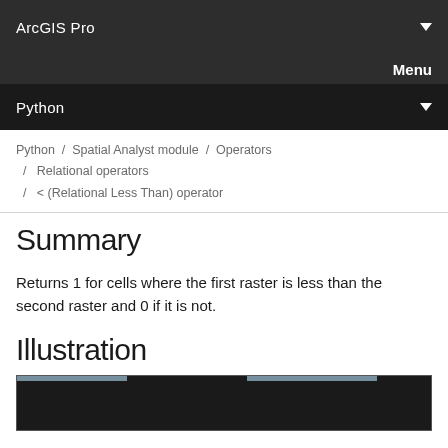ArcGIS Pro
Menu
Python
Python / Spatial Analyst module / Operators / Relational operators / < (Relational Less Than) operator
Summary
Returns 1 for cells where the first raster is less than the second raster and 0 if it is not.
Illustration
[Figure (illustration): Partial illustration image showing a dark background with light-colored tab/bar elements at the top, partially visible at bottom of page]